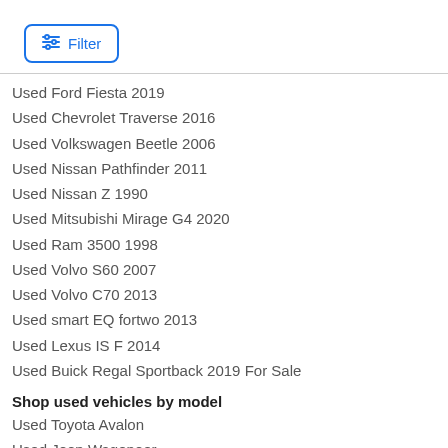[Figure (other): Filter button with sliders icon, styled with blue border and blue text]
Used Ford Fiesta 2019
Used Chevrolet Traverse 2016
Used Volkswagen Beetle 2006
Used Nissan Pathfinder 2011
Used Nissan Z 1990
Used Mitsubishi Mirage G4 2020
Used Ram 3500 1998
Used Volvo S60 2007
Used Volvo C70 2013
Used smart EQ fortwo 2013
Used Lexus IS F 2014
Used Buick Regal Sportback 2019 For Sale
Shop used vehicles by model
Used Toyota Avalon
Used Jeep Wagoneer